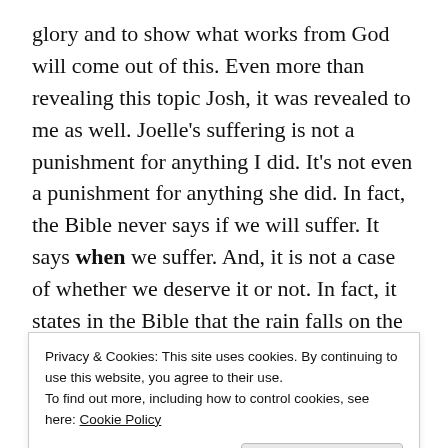glory and to show what works from God will come out of this. Even more than revealing this topic Josh, it was revealed to me as well. Joelle's suffering is not a punishment for anything I did. It's not even a punishment for anything she did. In fact, the Bible never says if we will suffer. It says when we suffer. And, it is not a case of whether we deserve it or not. In fact, it states in the Bible that the rain falls on the just and the unjust alike. And we suffer, so that you the glory of God can be revealed.
I didn't come up with this on my own. There's no way I
Privacy & Cookies: This site uses cookies. By continuing to use this website, you agree to their use.
To find out more, including how to control cookies, see here: Cookie Policy
Close and accept
of scripture once or twice in the past 30 years. The fact